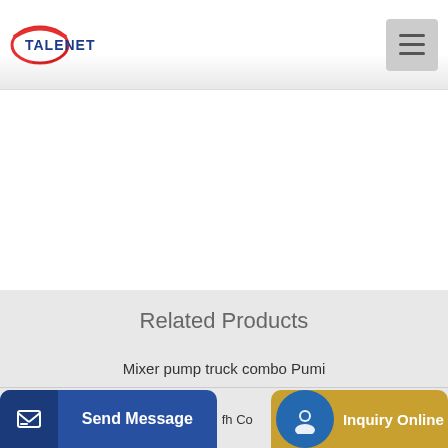TALENET
Related Products
Mixer pump truck combo Pumi
Shotcrete Steves Concrete Pumping
Send Message | fh Co | Inquiry Online